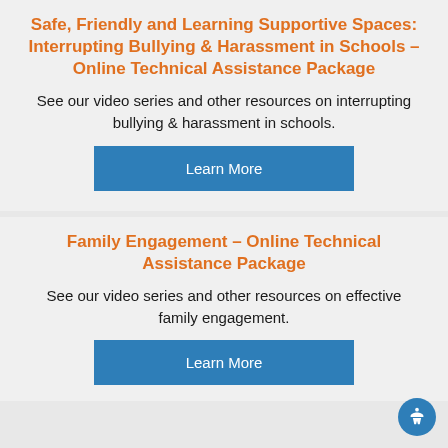Safe, Friendly and Learning Supportive Spaces: Interrupting Bullying & Harassment in Schools – Online Technical Assistance Package
See our video series and other resources on interrupting bullying & harassment in schools.
Learn More
Family Engagement – Online Technical Assistance Package
See our video series and other resources on effective family engagement.
Learn More